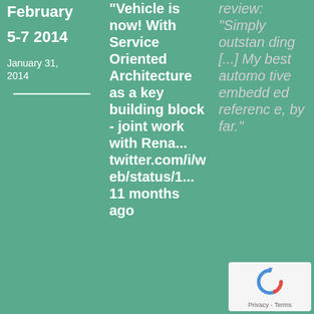February
5-7 2014
January 31, 2014
"Vehicle is now! With Service Oriented Architecture as a key building block - joint work with Rena... twitter.com/i/web/status/1... 11 months ago
review: "Simply outstanding [...] My best automotive embedded reference, by far."
[Figure (other): reCAPTCHA widget with Privacy - Terms footer]